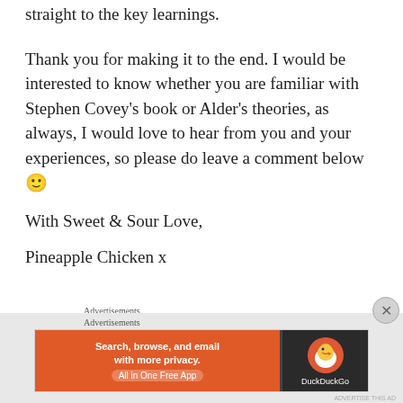straight to the key learnings.
Thank you for making it to the end. I would be interested to know whether you are familiar with Stephen Covey's book or Alder's theories, as always, I would love to hear from you and your experiences, so please do leave a comment below 🙂
With Sweet & Sour Love,
Pineapple Chicken x
[Figure (other): Advertisement banner - DuckDuckGo: Search, browse, and email with more privacy. All in One Free App]
Advertisements